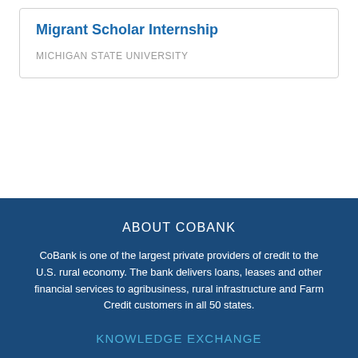Migrant Scholar Internship
MICHIGAN STATE UNIVERSITY
ABOUT COBANK
CoBank is one of the largest private providers of credit to the U.S. rural economy. The bank delivers loans, leases and other financial services to agribusiness, rural infrastructure and Farm Credit customers in all 50 states.
KNOWLEDGE EXCHANGE